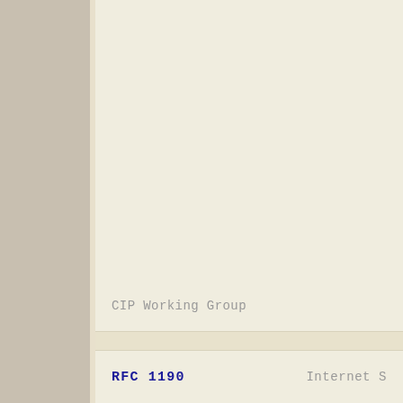CIP Working Group
RFC 1190   Internet S